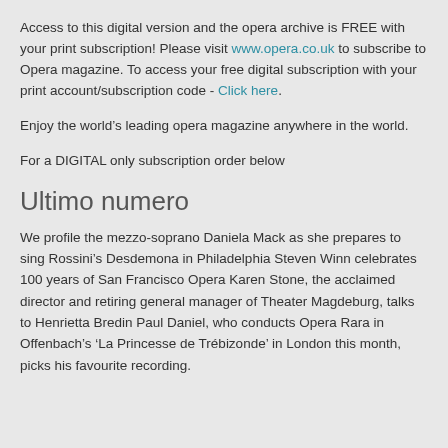Access to this digital version and the opera archive is FREE with your print subscription! Please visit www.opera.co.uk to subscribe to Opera magazine. To access your free digital subscription with your print account/subscription code -  Click here.
Enjoy the world’s leading opera magazine anywhere in the world.
For a DIGITAL only subscription order below
Ultimo numero
We profile the mezzo-soprano Daniela Mack as she prepares to sing Rossini’s Desdemona in Philadelphia Steven Winn celebrates 100 years of San Francisco Opera Karen Stone, the acclaimed director and retiring general manager of Theater Magdeburg, talks to Henrietta Bredin Paul Daniel, who conducts Opera Rara in Offenbach’s ‘La Princesse de Trébizonde’ in London this month, picks his favourite recording.